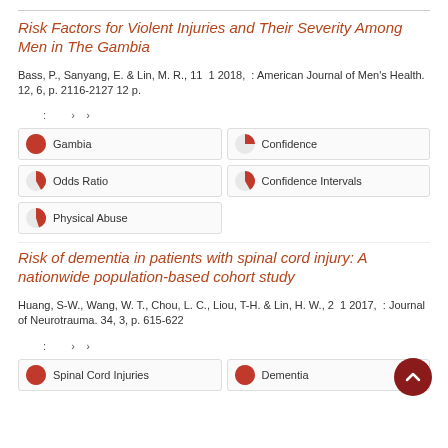Risk Factors for Violent Injuries and Their Severity Among Men in The Gambia
Bass, P., Sanyang, E. & Lin, M. R., 11 1 2018, : American Journal of Men's Health. 12, 6, p. 2116-2127 12 p.
: › ›
Gambia
Confidence
Odds Ratio
Confidence Intervals
Physical Abuse
Risk of dementia in patients with spinal cord injury: A nationwide population-based cohort study
Huang, S-W., Wang, W. T., Chou, L. C., Liou, T-H. & Lin, H. W., 2 1 2017, : Journal of Neurotrauma. 34, 3, p. 615-622
: › ›
Spinal Cord Injuries
Dementia